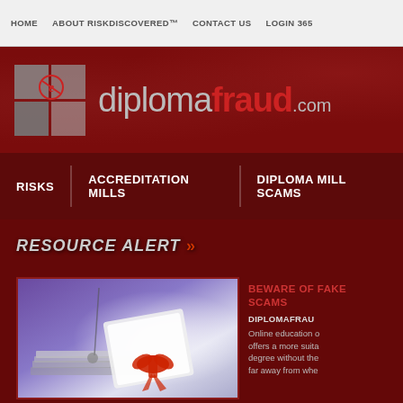HOME   ABOUT RISKDISCOVERED™   CONTACT US   LOGIN 365
[Figure (logo): diplomafraud.com logo with grey squares grid and red fraud text]
RISKS   ACCREDITATION MILLS   DIPLOMA MILL SCAMS
RESOURCE ALERT »
[Figure (photo): Photo of diploma/certificate with red ribbon bow and books on purple background]
BEWARE OF FAKE SCAMS
DIPLOMAFRAUD
Online education offers a more suitable degree without the far away from whe